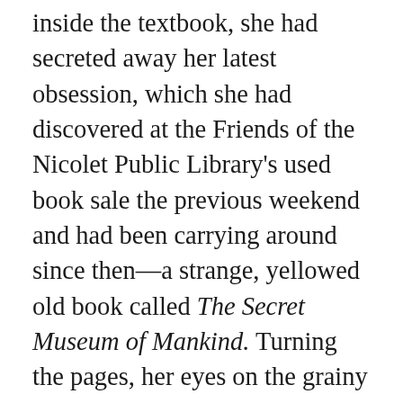inside the textbook, she had secreted away her latest obsession, which she had discovered at the Friends of the Nicolet Public Library's used book sale the previous weekend and had been carrying around since then—a strange, yellowed old book called The Secret Museum of Mankind. Turning the pages, her eyes on the grainy images and their captions, it was this book she read as Ms Lessing lectured.

There were photos of scantily clad men, earlobes stretched around clay disks; bare breasted women in skirts of grass, naked babies resting on their hips; a boy hunter wielding a